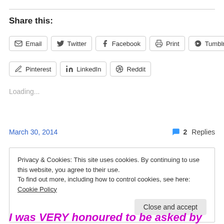Share this:
Email  Twitter  Facebook  Print  Tumblr
Pinterest  LinkedIn  Reddit
Loading...
March 30, 2014   2 Replies
Privacy & Cookies: This site uses cookies. By continuing to use this website, you agree to their use.
To find out more, including how to control cookies, see here: Cookie Policy
Close and accept
I was VERY honoured to be asked by